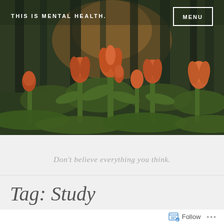THIS IS MENTAL HEALTH.
[Figure (photo): Dark moody photo of orange tulips in a forest setting with dark green foliage and tree trunks in the background, taken at golden hour]
Don't believe everything you think.
Tag: Study